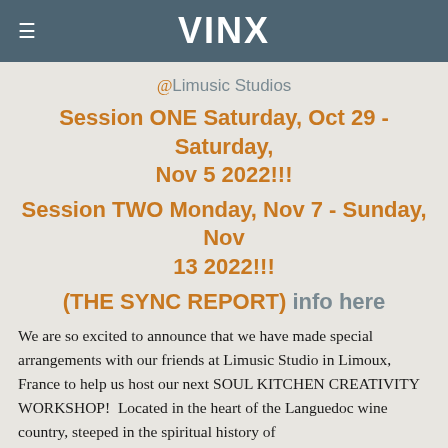VINX
@Limusic Studios
Session ONE Saturday, Oct 29 - Saturday, Nov 5 2022!!!
Session TWO Monday, Nov 7 - Sunday, Nov 13 2022!!!
(THE SYNC REPORT) info here
We are so excited to announce that we have made special arrangements with our friends at Limusic Studio in Limoux, France to help us host our next SOUL KITCHEN CREATIVITY WORKSHOP!  Located in the heart of the Languedoc wine country, steeped in the spiritual history of